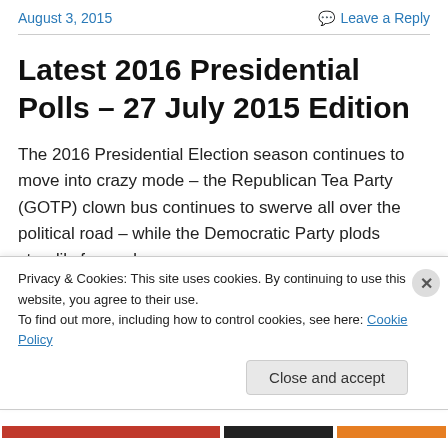August 3, 2015   Leave a Reply
Latest 2016 Presidential Polls – 27 July 2015 Edition
The 2016 Presidential Election season continues to move into crazy mode – the Republican Tea Party (GOTP) clown bus continues to swerve all over the political road – while the Democratic Party plods steadily forward.
Privacy & Cookies: This site uses cookies. By continuing to use this website, you agree to their use.
To find out more, including how to control cookies, see here: Cookie Policy
Close and accept